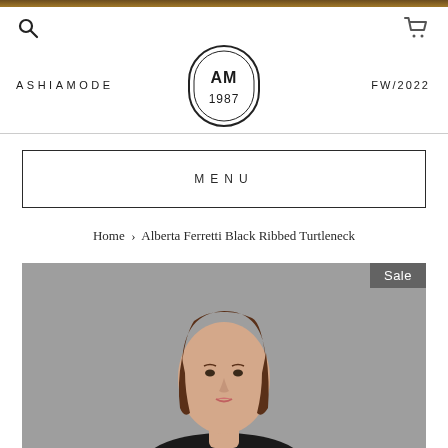ASHIAMODE — AM 1987 — FW/2022
MENU
Home › Alberta Ferretti Black Ribbed Turtleneck
[Figure (photo): Product photo of a woman wearing a black ribbed turtleneck, shown from shoulders up against a grey background. A 'Sale' badge is shown in the top right corner of the image.]